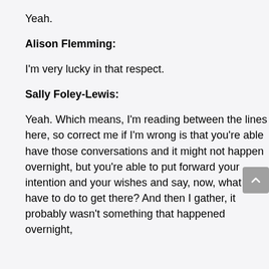Yeah.
Alison Flemming:
I'm very lucky in that respect.
Sally Foley-Lewis:
Yeah. Which means, I'm reading between the lines here, so correct me if I'm wrong is that you're able have those conversations and it might not happen overnight, but you're able to put forward your intention and your wishes and say, now, what do I have to do to get there? And then I gather, it probably wasn't something that happened overnight,